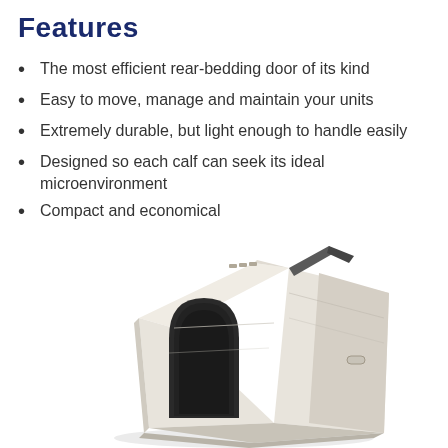Features
The most efficient rear-bedding door of its kind
Easy to move, manage and maintain your units
Extremely durable, but light enough to handle easily
Designed so each calf can seek its ideal microenvironment
Compact and economical
[Figure (photo): A white plastic calf hutch with a dark interior opening at the front, ventilation slots on top, and a side-mounted handle, photographed at an angle on a white background.]